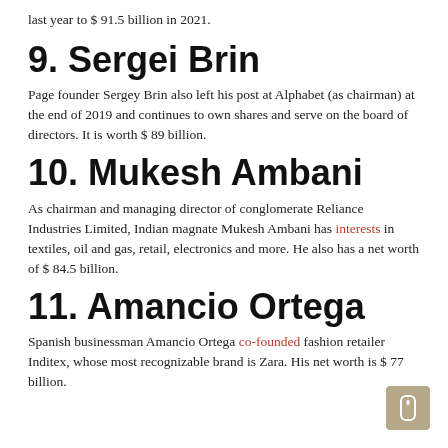last year to $ 91.5 billion in 2021.
9. Sergei Brin
Page founder Sergey Brin also left his post at Alphabet (as chairman) at the end of 2019 and continues to own shares and serve on the board of directors. It is worth $ 89 billion.
10. Mukesh Ambani
As chairman and managing director of conglomerate Reliance Industries Limited, Indian magnate Mukesh Ambani has interests in textiles, oil and gas, retail, electronics and more. He also has a net worth of $ 84.5 billion.
11. Amancio Ortega
Spanish businessman Amancio Ortega co-founded fashion retailer Inditex, whose most recognizable brand is Zara. His net worth is $ 77 billion.